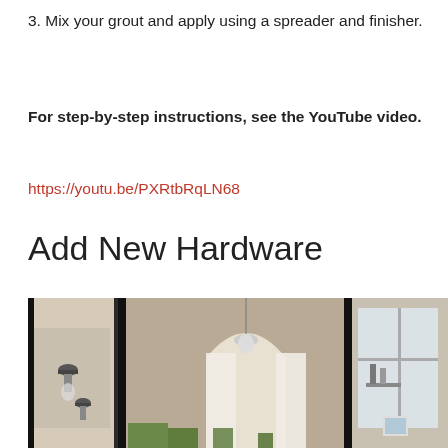3. Mix your grout and apply using a spreader and finisher.
For step-by-step instructions, see the YouTube video.
https://youtu.be/PXRtbRqLN68
Add New Hardware
[Figure (photo): Interior room photo showing arched doorways, white curtains, a chandelier, black-framed glass doors with wall sconces, and plants on a windowsill.]